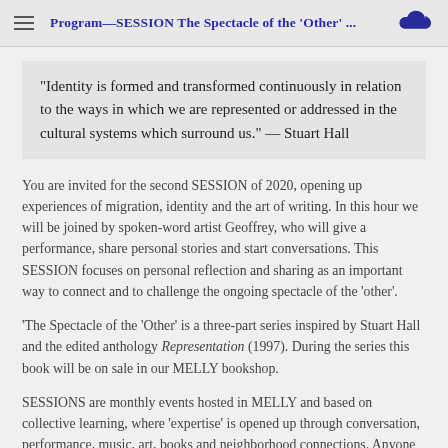Program—SESSION The Spectacle of the 'Other' ...
“Identity is formed and transformed continuously in relation to the ways in which we are represented or addressed in the cultural systems which surround us.” — Stuart Hall
You are invited for the second SESSION of 2020, opening up experiences of migration, identity and the art of writing. In this hour we will be joined by spoken-word artist Geoffrey, who will give a performance, share personal stories and start conversations. This SESSION focuses on personal reflection and sharing as an important way to connect and to challenge the ongoing spectacle of the ‘other’.
‘The Spectacle of the ‘Other’ is a three-part series inspired by Stuart Hall and the edited anthology Representation (1997). During the series this book will be on sale in our MELLY bookshop.
SESSIONS are monthly events hosted in MELLY and based on collective learning, where ‘expertise’ is opened up through conversation, performance, music, art, books and neighborhood connections. Anyone who is interested in sharing and who has a joy of learning from different perspectives is welcome.